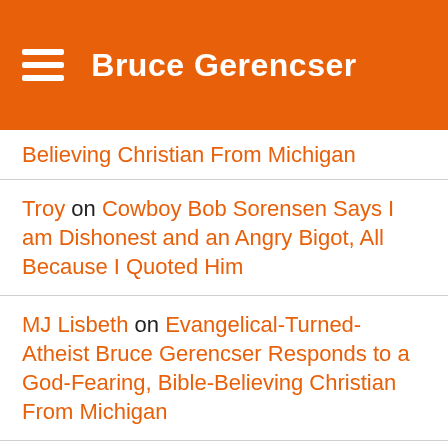Bruce Gerencser
Believing Christian From Michigan
Troy on Cowboy Bob Sorensen Says I am Dishonest and an Angry Bigot, All Because I Quoted Him
MJ Lisbeth on Evangelical-Turned-Atheist Bruce Gerencser Responds to a God-Fearing, Bible-Believing Christian From Michigan
MJ Lisbeth on IFB Pastor John MacFarlane Says Non-Christians Manufacture Hope and Good Feelings — True Christians Don't